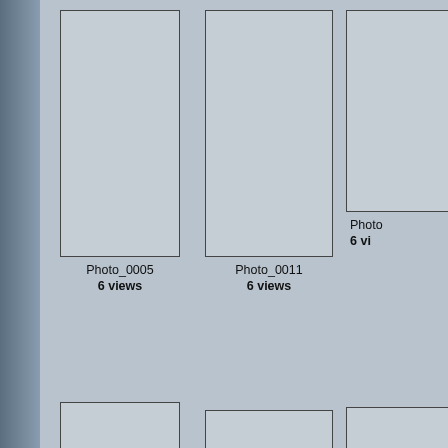[Figure (screenshot): Photo gallery grid showing thumbnail placeholders. Row 1: Photo_0005 (6 views), Photo_0011 (6 views), partial third photo. Row 2: Photo_0143 (6 views), Photo_0145 (6 views), partial third photo.]
Photo_0005
6 views
Photo_0011
6 views
Photo_0143
6 views
Photo_0145
6 views
172 files on 15 page(s)   Jump to page 2   1  2
Secured with